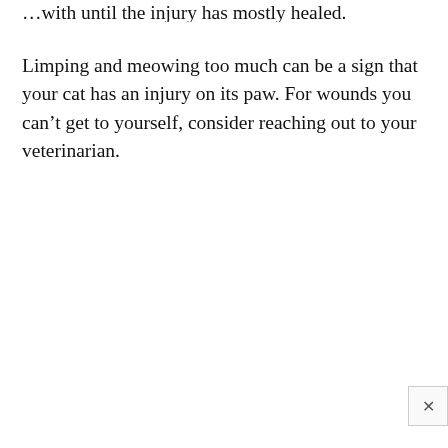…with until the injury has mostly healed.
Limping and meowing too much can be a sign that your cat has an injury on its paw. For wounds you can't get to yourself, consider reaching out to your veterinarian.